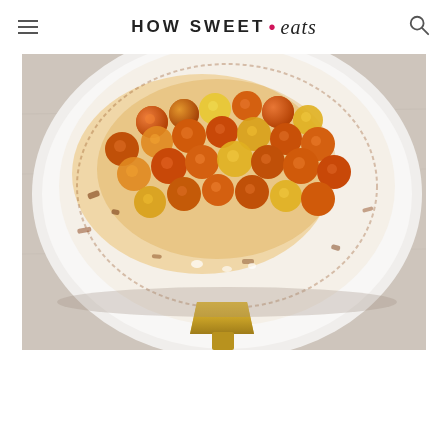HOW SWEET • eats
[Figure (photo): Overhead/top-down photo of roasted cherry tomatoes (red, orange, and yellow) in a white ceramic skillet with a gold/brass handle, sitting on a light gray stone or concrete surface. The tomatoes are blistered and caramelized with golden-orange juices and browned bits around the edges of the pan.]